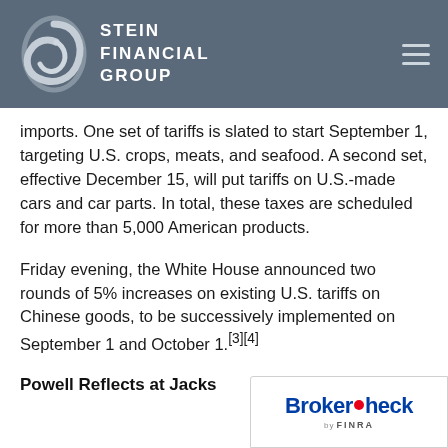Stein Financial Group
imports. One set of tariffs is slated to start September 1, targeting U.S. crops, meats, and seafood. A second set, effective December 15, will put tariffs on U.S.-made cars and car parts. In total, these taxes are scheduled for more than 5,000 American products.
Friday evening, the White House announced two rounds of 5% increases on existing U.S. tariffs on Chinese goods, to be successively implemented on September 1 and October 1.[3][4]
Powell Reflects at Jacks
[Figure (logo): BrokerCheck by FINRA logo overlay in bottom right corner]